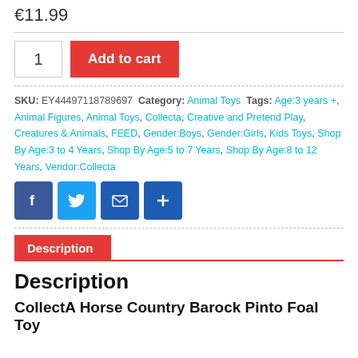€11.99
1  Add to cart
SKU: EY44497118789697  Category: Animal Toys  Tags: Age:3 years +, Animal Figures, Animal Toys, Collecta, Creative and Pretend Play, Creatures & Animals, FEED, Gender:Boys, Gender:Girls, Kids Toys, Shop By Age:3 to 4 Years, Shop By Age:5 to 7 Years, Shop By Age:8 to 12 Years, Vendor:Collecta
[Figure (infographic): Social sharing buttons: Facebook, Twitter, Email, Plus/Share]
Description
Description
CollectA Horse Country Barock Pinto Foal Toy